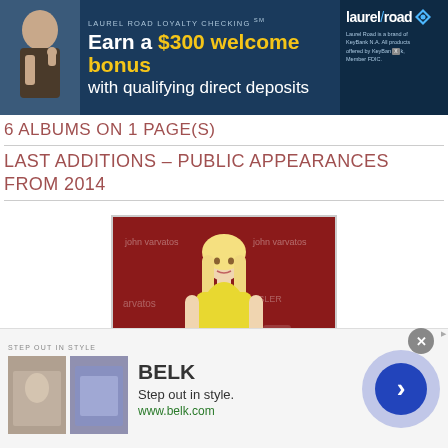[Figure (infographic): Laurel Road Loyalty Checking banner ad: Earn a $300 welcome bonus with qualifying direct deposits. Laurel Road is a brand of KeyBank N.A. All products offered by KeyBank, Member FDIC.]
6 ALBUMS ON 1 PAGE(S)
LAST ADDITIONS – PUBLIC APPEARANCES FROM 2014
[Figure (photo): Blonde woman in yellow dress standing in front of a John Varvatos / Chrysler event backdrop]
[Figure (infographic): Belk advertisement: STEP OUT IN STYLE. BELK. Step out in style. www.belk.com. Two thumbnail images showing fashion items. Navigation arrow circle button.]